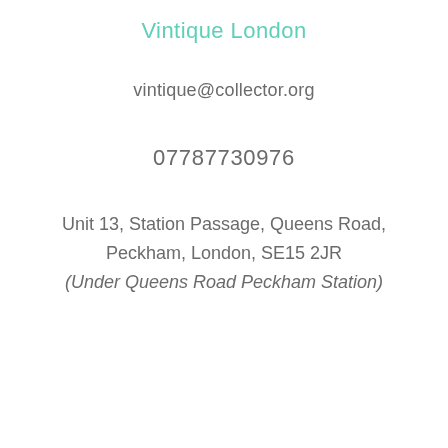Vintique London
vintique@collector.org
07787730976
Unit 13, Station Passage, Queens Road, Peckham, London, SE15 2JR
(Under Queens Road Peckham Station)